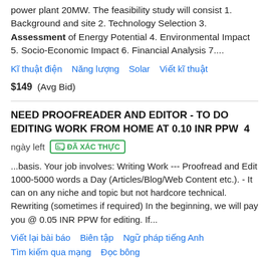power plant 20MW. The feasibility study will consist 1. Background and site 2. Technology Selection 3. Assessment of Energy Potential 4. Environmental Impact 5. Socio-Economic Impact 6. Financial Analysis 7....
Kĩ thuật điện   Năng lượng   Solar   Viết kĩ thuật
$149  (Avg Bid)
NEED PROOFREADER AND EDITOR - TO DO EDITING WORK FROM HOME AT 0.10 INR PPW  4 ngày left  ĐÃ XÁC THỰC
...basis. Your job involves: Writing Work --- Proofread and Edit 1000-5000 words a Day (Articles/Blog/Web Content etc.). - It can on any niche and topic but not hardcore technical. Rewriting (sometimes if required) In the beginning, we will pay you @ 0.05 INR PPW for editing. If...
Viết lại bài báo   Biên tập   Ngữ pháp tiếng Anh   Tìm kiếm qua mạng   Đọc bông